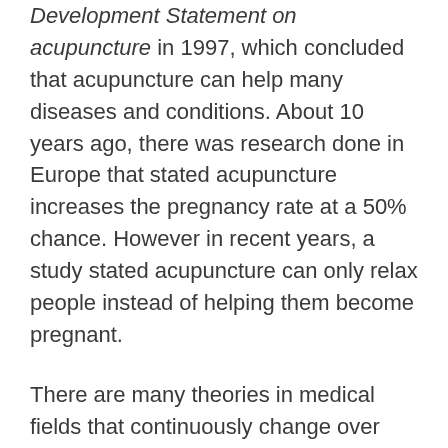Development Statement on acupuncture in 1997, which concluded that acupuncture can help many diseases and conditions. About 10 years ago, there was research done in Europe that stated acupuncture increases the pregnancy rate at a 50% chance. However in recent years, a study stated acupuncture can only relax people instead of helping them become pregnant.
There are many theories in medical fields that continuously change over time, depending on the latest developments. Take the CPR procedure and the principal of dealing with shock patients for